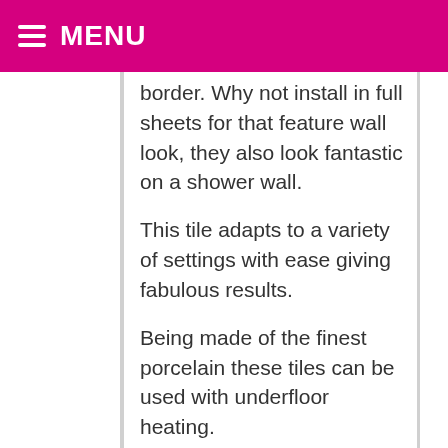MENU
border. Why not install in full sheets for that feature wall look, they also look fantastic on a shower wall.
This tile adapts to a variety of settings with ease giving fabulous results.
Being made of the finest porcelain these tiles can be used with underfloor heating. Electric wire kits like the Schluter Ditra Heat or water underfloor heating kits like the Schluter BEKOTEC-THERM are both suitable options.